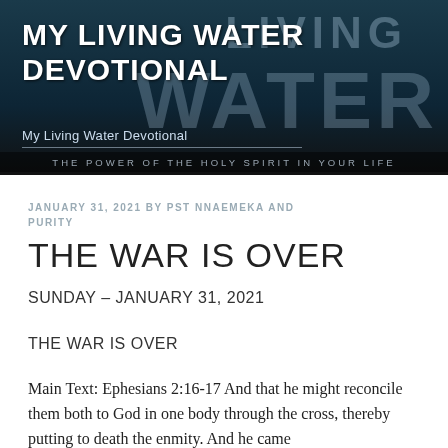[Figure (photo): Header banner with waterfall background and 'MY LIVING WATER DEVOTIONAL' text overlay, with large semi-transparent 'LIVING WATER' text in background]
My Living Water Devotional
JANUARY 31, 2021 BY PST NNAEMEKA AND PURITY
THE WAR IS OVER
SUNDAY – JANUARY 31, 2021
THE WAR IS OVER
Main Text: Ephesians 2:16-17 And that he might reconcile them both to God in one body through the cross, thereby putting to death the enmity. And he came